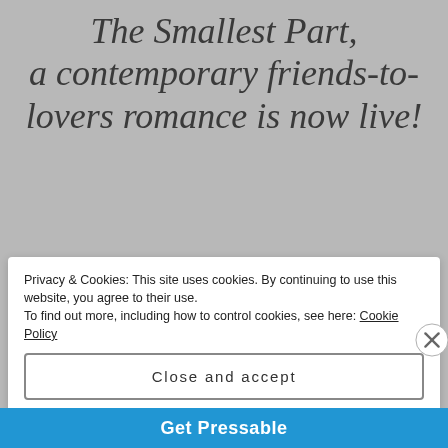The Smallest Part, a contemporary friends-to-lovers romance is now live!
“In the end, only three things matter. How much you loved, how gently you lived, and how gracefully you let go of things not meant for you.” – Unknown
Privacy & Cookies: This site uses cookies. By continuing to use this website, you agree to their use. To find out more, including how to control cookies, see here: Cookie Policy
Close and accept
[Figure (other): Blue banner bar at bottom with white bold text 'Get Pressable' and a partial image]